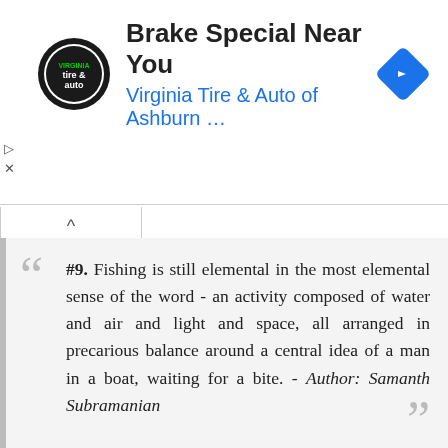[Figure (screenshot): Advertisement banner for Virginia Tire & Auto of Ashburn with logo, title 'Brake Special Near You', subtitle 'Virginia Tire & Auto of Ashburn ...', blue diamond navigation icon, and ad controls (play and close icons)]
#9. Fishing is still elemental in the most elemental sense of the word - an activity composed of water and air and light and space, all arranged in precarious balance around a central idea of a man in a boat, waiting for a bite. - Author: Samanth Subramanian